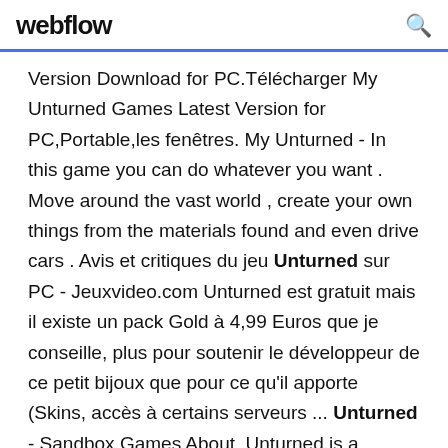webflow
Version Download for PC.Télécharger My Unturned Games Latest Version for PC,Portable,les fenêtres. My Unturned - In this game you can do whatever you want . Move around the vast world , create your own things from the materials found and even drive cars . Avis et critiques du jeu Unturned sur PC - Jeuxvideo.com Unturned est gratuit mais il existe un pack Gold à 4,99 Euros que je conseille, plus pour soutenir le développeur de ce petit bijoux que pour ce qu'il apporte (Skins, accès à certains serveurs ... Unturned - Sandbox Games About. Unturned is a sandbox game in the emerging multiplayer apocalypse survival genre. Rather than focusing on being